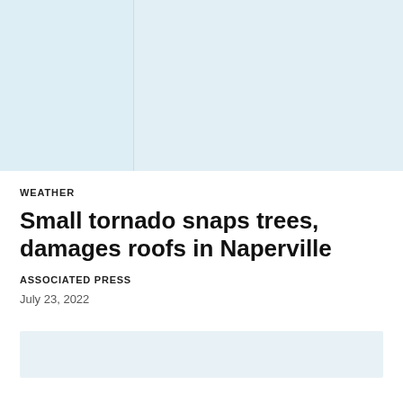[Figure (photo): Light blue placeholder image area with two panels, suggesting a weather or news photo]
WEATHER
Small tornado snaps trees, damages roofs in Naperville
ASSOCIATED PRESS
July 23, 2022
[Figure (photo): Light blue placeholder image area at bottom of page]